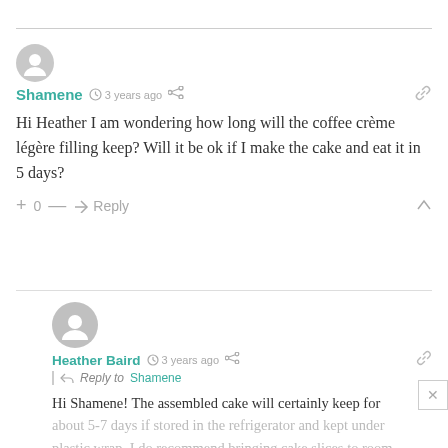Shamene · 3 years ago
Hi Heather I am wondering how long will the coffee crème légère filling keep? Will it be ok if I make the cake and eat it in 5 days?
Heather Baird · 3 years ago · Reply to Shamene
Hi Shamene! The assembled cake will certainly keep for about 5-7 days if stored in the refrigerator and kept under plastic wrap. I do recommend bringing cake slices to room